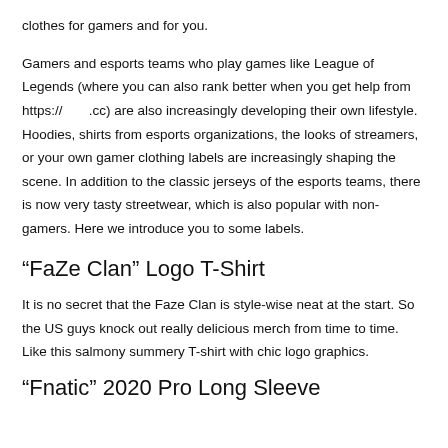clothes for gamers and for you.
Gamers and esports teams who play games like League of Legends (where you can also rank better when you get help from https://       .cc) are also increasingly developing their own lifestyle. Hoodies, shirts from esports organizations, the looks of streamers, or your own gamer clothing labels are increasingly shaping the scene. In addition to the classic jerseys of the esports teams, there is now very tasty streetwear, which is also popular with non-gamers. Here we introduce you to some labels.
“FaZe Clan” Logo T-Shirt
It is no secret that the Faze Clan is style-wise neat at the start. So the US guys knock out really delicious merch from time to time. Like this salmony summery T-shirt with chic logo graphics.
“Fnatic” 2020 Pro Long Sleeve